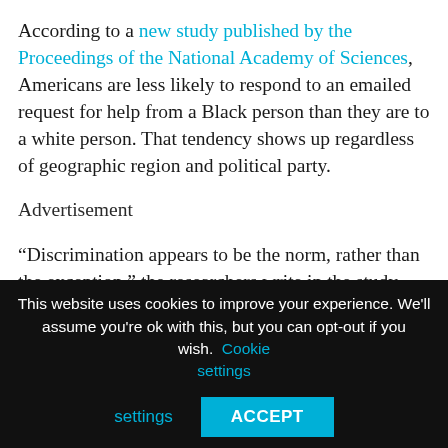According to a new study published by the Proceedings of the National Academy of Sciences, Americans are less likely to respond to an emailed request for help from a Black person than they are to a white person. That tendency shows up regardless of geographic region and political party.
Advertisement
“Discrimination appears to be the norm, rather than the exception,” the researchers write in the study, which was published late last month and is said to be one of the largest studies to date on racial bias in the U.S.
To conduct the study, researchers at Pennsylvania State
This website uses cookies to improve your experience. We'll assume you're ok with this, but you can opt-out if you wish. Cookie settings ACCEPT